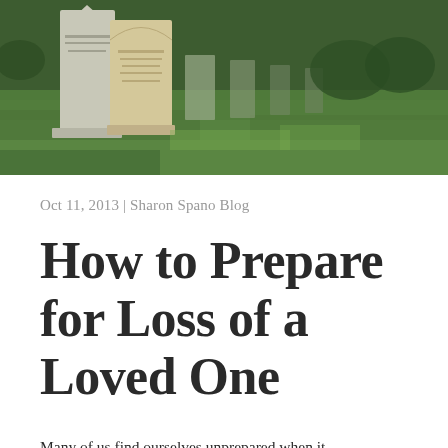[Figure (photo): Cemetery photo showing gravestones on a green grass lawn, outdoor daylight]
Oct 11, 2013 | Sharon Spano Blog
How to Prepare for Loss of a Loved One
Many of us find ourselves unprepared when it...